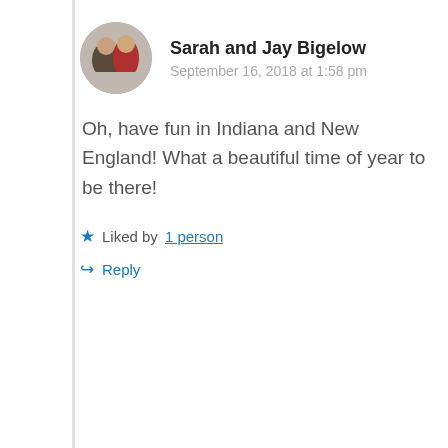[Figure (photo): Round avatar photo of Sarah and Jay Bigelow, two people outdoors, one wearing a striped hat]
Sarah and Jay Bigelow
September 16, 2018 at 1:58 pm
Oh, have fun in Indiana and New England! What a beautiful time of year to be there!
★ Liked by 1 person
↳ Reply
[Figure (photo): Round avatar photo of Helen, two people, man and woman, casual setting]
Helen
September 16, 2018 at 6:42 pm